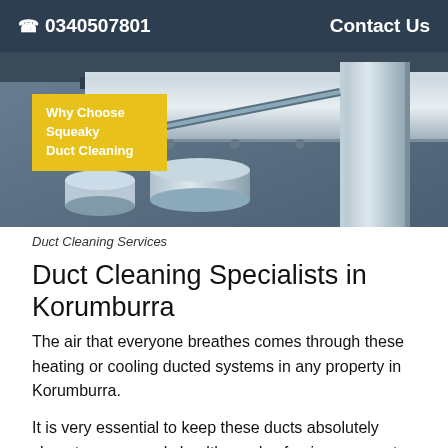☎ 0340507801    Contact Us
[Figure (photo): Overhead view of metal HVAC ducts and ventilation pipes in a commercial building ceiling, with a yellow badge overlay reading 'Why Choose Squeaky Duct Cleaning']
Duct Cleaning Services
Duct Cleaning Specialists in Korumburra
The air that everyone breathes comes through these heating or cooling ducted systems in any property in Korumburra.
It is very essential to keep these ducts absolutely clean to ensure only healthy and safe air comes out these systems. At Squeaky Clean Duct Korumburra we work to provide 100% clean ducts throughout all suburbs of Korumburra at most affordable rates.